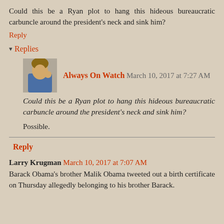Could this be a Ryan plot to hang this hideous bureaucratic carbuncle around the president's neck and sink him?
Reply
Replies
Always On Watch  March 10, 2017 at 7:27 AM
Could this be a Ryan plot to hang this hideous bureaucratic carbuncle around the president's neck and sink him?
Possible.
Reply
Larry Krugman  March 10, 2017 at 7:07 AM
Barack Obama's brother Malik Obama tweeted out a birth certificate on Thursday allegedly belonging to his brother Barack.